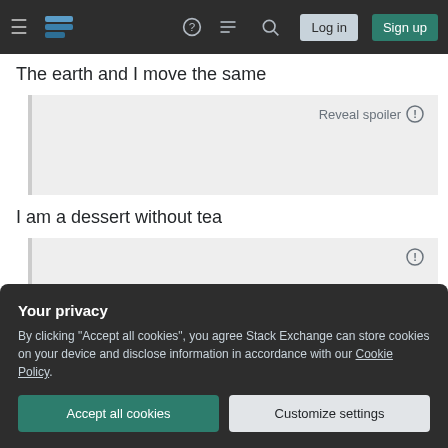Stack Exchange navigation bar with Log in and Sign up buttons
The earth and I move the same
[Figure (screenshot): Reveal spoiler blurred/hidden content box with 'Reveal spoiler' label and info icon]
I am a dessert without tea
Your privacy
By clicking "Accept all cookies", you agree Stack Exchange can store cookies on your device and disclose information in accordance with our Cookie Policy.
Accept all cookies
Customize settings